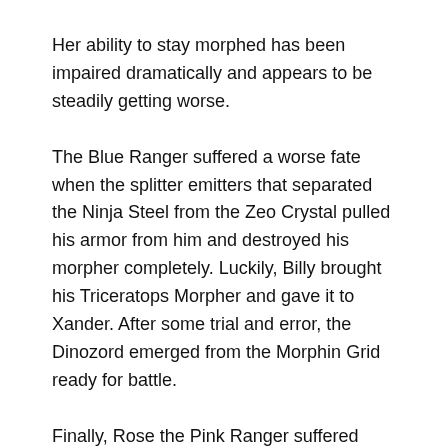Her ability to stay morphed has been impaired dramatically and appears to be steadily getting worse.
The Blue Ranger suffered a worse fate when the splitter emitters that separated the Ninja Steel from the Zeo Crystal pulled his armor from him and destroyed his morpher completely. Luckily, Billy brought his Triceratops Morpher and gave it to Xander. After some trial and error, the Dinozord emerged from the Morphin Grid ready for battle.
Finally, Rose the Pink Ranger suffered serious wounds at the hands of the Evil Phoenix Ranger. Her Power Crossbow was taken from her and is now being manipulated into the Evil Phoenix Crossbow.